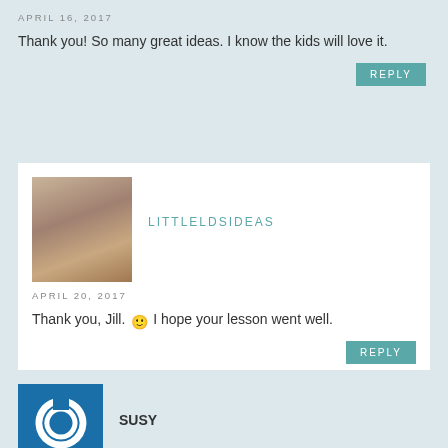APRIL 16, 2017
Thank you! So many great ideas. I know the kids will love it.
[Figure (photo): Profile photo of a woman with long blonde/brown hair, smiling]
LITTLELDSIDEAS
APRIL 20, 2017
Thank you, Jill. 🙂 I hope your lesson went well.
[Figure (logo): Blue square icon with a white power/circular symbol, representing user avatar for Susy]
SUSY